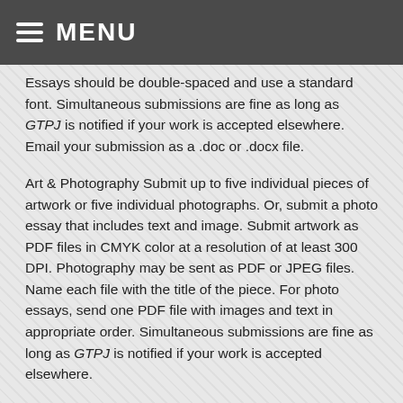MENU
Essays should be double-spaced and use a standard font. Simultaneous submissions are fine as long as GTPJ is notified if your work is accepted elsewhere. Email your submission as a .doc or .docx file.
Art & Photography Submit up to five individual pieces of artwork or five individual photographs. Or, submit a photo essay that includes text and image. Submit artwork as PDF files in CMYK color at a resolution of at least 300 DPI. Photography may be sent as PDF or JPEG files. Name each file with the title of the piece. For photo essays, send one PDF file with images and text in appropriate order. Simultaneous submissions are fine as long as GTPJ is notified if your work is accepted elsewhere.
Email your submission at greentheoryandpraxis@gmail.com. Include contact information on the first page of your file.